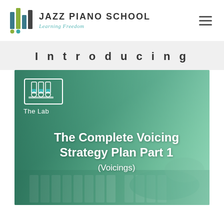[Figure (logo): Jazz Piano School logo with colorful bar-chart style icon and text 'JAZZ PIANO SCHOOL Learning Freedom']
Introducing
[Figure (photo): Promotional image with green-tinted piano background showing 'The Lab' icon and text: 'The Complete Voicing Strategy Plan Part 1 (Voicings)']